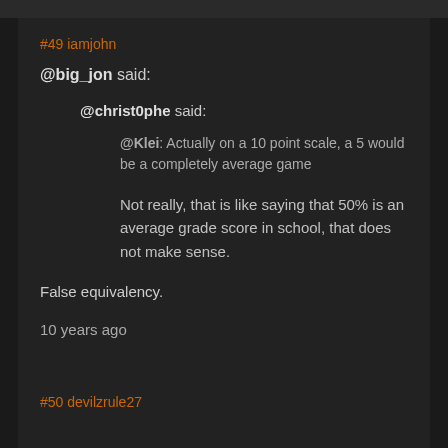#49 iamjohn
@big_jon said:
@christ0phe said:
@Klei: Actually on a 10 point scale, a 5 would be a completely average game
Not really, that is like saying that 50% is an average grade score in school, that does not make sense.
False equivalency.
10 years ago
#50 devilzrule27